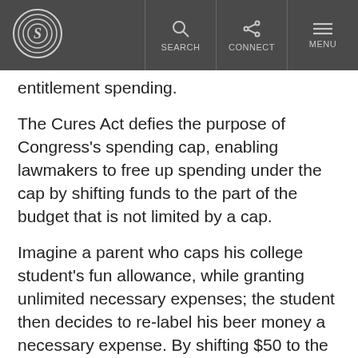S [logo] | SEARCH | CONNECT | MENU
entitlement spending.
The Cures Act defies the purpose of Congress’s spending cap, enabling lawmakers to free up spending under the cap by shifting funds to the part of the budget that is not limited by a cap.
Imagine a parent who caps his college student’s fun allowance, while granting unlimited necessary expenses; the student then decides to re-label his beer money a necessary expense. By shifting $50 to the necessary expense side, the defiant college student gets to spend $50 more fun money in addition to spending $50 on beer from the necessary expense account. This student now gets to spend that beer